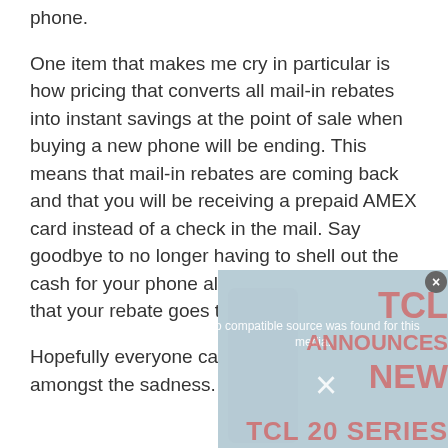phone.
One item that makes me cry in particular is how pricing that converts all mail-in rebates into instant savings at the point of sale when buying a new phone will be ending. This means that mail-in rebates are coming back and that you will be receiving a prepaid AMEX card instead of a check in the mail. Say goodbye to no longer having to shell out the cash for your phone all up front and praying that your rebate goes through.
Hopefully everyone can find some happiness amongst the sadness.
[Figure (screenshot): Video player overlay showing 'No compatible source was found for this media.' message with a close button (x), and a TCL ANNOUNCES NEW TCL 20 SERIES advertisement partially visible in the background.]